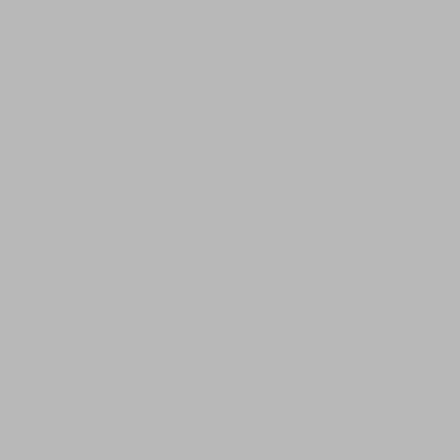762... Woodbury... phone:... fax:... cellular:... Hours:... Transfer...
Woodbury N... No... 1020... Woo... pho... Transfer f...
Worth... A... 280... Worth... pho... Hours: 8:... Transfer fee: $20.00 lo...
Worth...